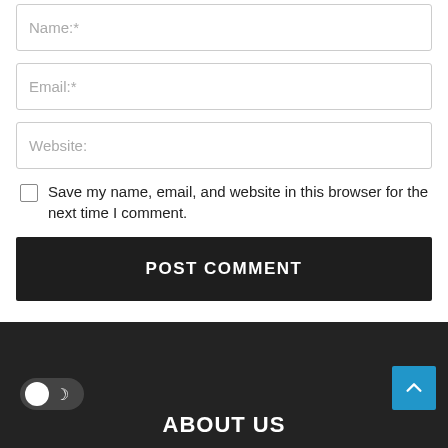Name:*
Email:*
Website:
Save my name, email, and website in this browser for the next time I comment.
POST COMMENT
ABOUT US